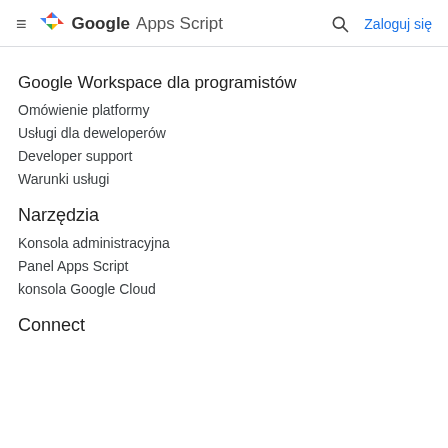Google Apps Script — Zaloguj się
Google Workspace dla programistów
Omówienie platformy
Usługi dla deweloperów
Developer support
Warunki usługi
Narzędzia
Konsola administracyjna
Panel Apps Script
konsola Google Cloud
Connect